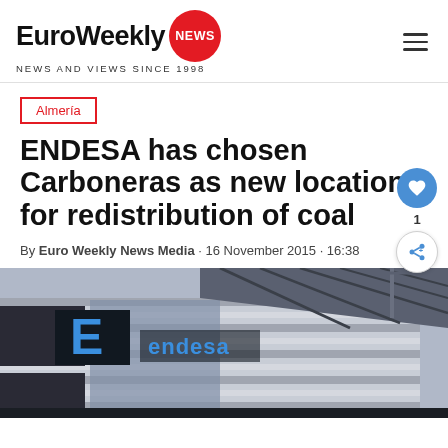EuroWeekly NEWS · NEWS AND VIEWS SINCE 1998
Almería
ENDESA has chosen Carboneras as new location for redistribution of coal
By Euro Weekly News Media · 16 November 2015 · 16:38
[Figure (photo): Endesa office building exterior with large E and endesa logo signage, glass and steel facade, crane visible in background]